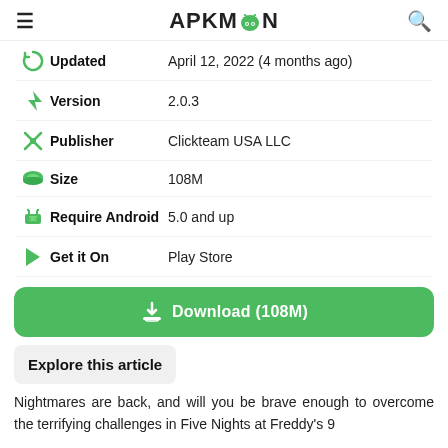APKMAZON
Updated — April 12, 2022 (4 months ago)
Version — 2.0.3
Publisher — Clickteam USA LLC
Size — 108M
Require Android — 5.0 and up
Get it On — Play Store
Download (108M)
Explore this article
Nightmares are back, and will you be brave enough to overcome the terrifying challenges in Five Nights at Freddy's 9